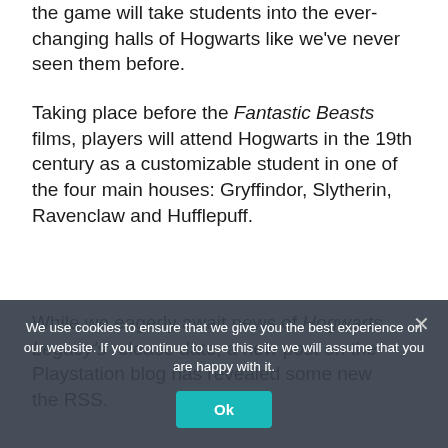the game will take students into the ever-changing halls of Hogwarts like we've never seen them before.
Taking place before the Fantastic Beasts films, players will attend Hogwarts in the 19th century as a customizable student in one of the four main houses: Gryffindor, Slytherin, Ravenclaw and Hufflepuff.
While we eagerly await news of Hogwarts Legacy's release date, a new post on the Playstation blog has revealed some new the RSS.
In a new video, players are shown some of th
We use cookies to ensure that we give you the best experience on our website. If you continue to use this site we will assume that you are happy with it.